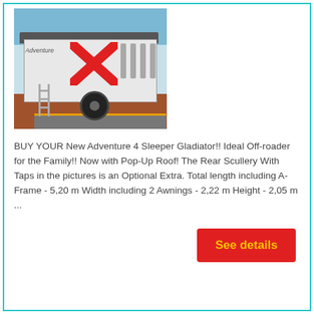[Figure (photo): A white off-road caravan/trailer with a red X logo and yellow stripe, parked on a brick surface with trees in background. Grey tarp over roof.]
BUY YOUR New Adventure 4 Sleeper Gladiator!! Ideal Off-roader for the Family!! Now with Pop-Up Roof! The Rear Scullery With Taps in the pictures is an Optional Extra. Total length including A-Frame - 5,20 m Width including 2 Awnings - 2,22 m Height - 2,05 m ...
See details